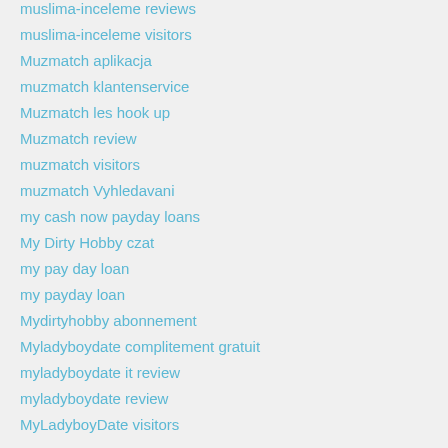muslima-inceleme reviews
muslima-inceleme visitors
Muzmatch aplikacja
muzmatch klantenservice
Muzmatch les hook up
Muzmatch review
muzmatch visitors
muzmatch Vyhledavani
my cash now payday loans
My Dirty Hobby czat
my pay day loan
my payday loan
Mydirtyhobby abonnement
Myladyboydate complitement gratuit
myladyboydate it review
myladyboydate review
MyLadyboyDate visitors